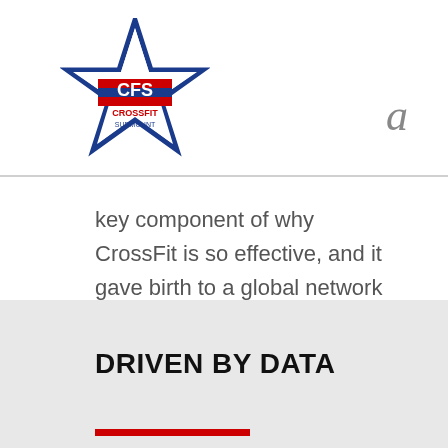[Figure (logo): CrossFit Surmount logo — blue star with red and blue horizontal stripes and text 'CROSSFIT SURMOUNT']
a
key component of why CrossFit is so effective, and it gave birth to a global network of CrossFit affiliates that number over 13,000. Harnessing the natural camaraderie, competition and fun of sport or game yields an intensity that cannot be matched by other means.
DRIVEN BY DATA